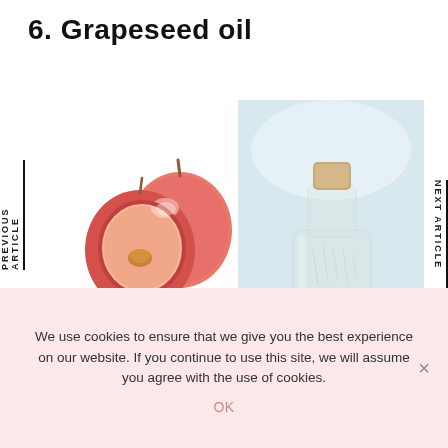6. Grapeseed oil
[Figure (photo): Two red grapes, one cut in half showing the seed inside, on white background]
[Figure (photo): Glass bottle with cork stopper containing light yellow grapeseed oil, with white string/cord around the base, on a white surface with blurred background]
PREVIOUS ARTICLE
NEXT ARTICLE
We use cookies to ensure that we give you the best experience on our website. If you continue to use this site, we will assume you agree with the use of cookies.
OK